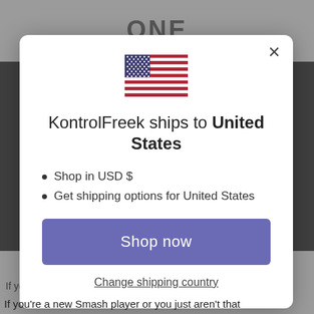[Figure (screenshot): Background website page (dimmed behind modal dialog), showing partial logo text at top and dark side strips.]
[Figure (illustration): US flag emoji/icon displayed at the top of the modal dialog.]
KontrolFreek ships to United States
Shop in USD $
Get shipping options for United States
Shop now
Change shipping country
If you're a new Smash player or you just aren't that